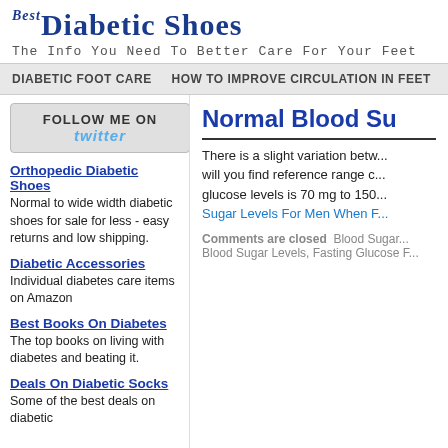Best Diabetic Shoes - The Info You Need To Better Care For Your Feet
DIABETIC FOOT CARE   HOW TO IMPROVE CIRCULATION IN FEET   DIABETIC...
[Figure (screenshot): Follow Me On Twitter button]
Orthopedic Diabetic Shoes
Normal to wide width diabetic shoes for sale for less - easy returns and low shipping.
Diabetic Accessories
Individual diabetes care items on Amazon
Best Books On Diabetes
The top books on living with diabetes and beating it.
Deals On Diabetic Socks
Some of the best deals on diabetic...
Normal Blood Su...
There is a slight variation betw... will you find reference range c... glucose levels is 70 mg to 150... Sugar Levels For Men When F...
Comments are closed   Blood Sugar...   Blood Sugar Levels, Fasting Glucose F...